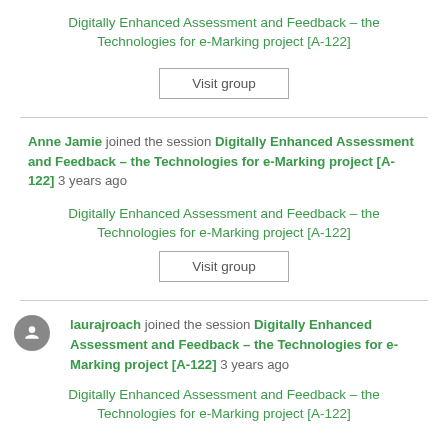Digitally Enhanced Assessment and Feedback – the Technologies for e-Marking project [A-122]
Visit group
Anne Jamie joined the session Digitally Enhanced Assessment and Feedback – the Technologies for e-Marking project [A-122] 3 years ago
Digitally Enhanced Assessment and Feedback – the Technologies for e-Marking project [A-122]
Visit group
laurajroach joined the session Digitally Enhanced Assessment and Feedback – the Technologies for e-Marking project [A-122] 3 years ago
Digitally Enhanced Assessment and Feedback – the Technologies for e-Marking project [A-122]